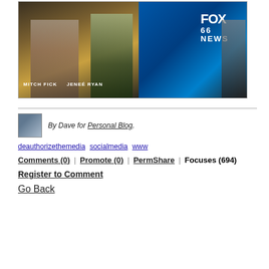[Figure (screenshot): TV news broadcast screenshot showing news anchors on set. Left panel shows two anchors labeled 'MITCH FICK' and 'JENEÉ RYAN'. Right panel shows FOX 66 NEWS logo and another anchor.]
By Dave for Personal Blog.
deauthorizethemedia socialmedia www
Comments (0) | Promote (0) | PermShare | Focuses (694)
Register to Comment
Go Back